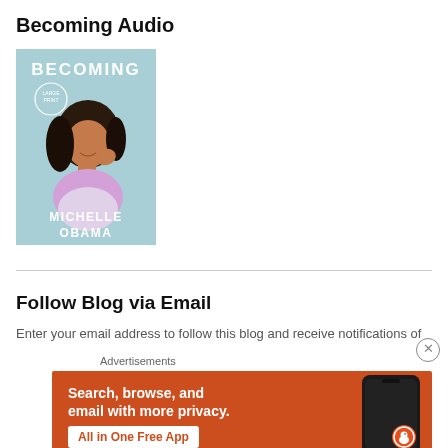Becoming Audio
[Figure (illustration): Book cover of 'Becoming' by Michelle Obama (Large Print edition) — light blue background, woman with dark curly hair resting chin on hand, text 'BECOMING' at top and 'MICHELLE OBAMA' at bottom]
Follow Blog via Email
Enter your email address to follow this blog and receive notifications of
[Figure (advertisement): DuckDuckGo advertisement banner on orange background. Text: 'Search, browse, and email with more privacy. All in One Free App' with a smartphone image and DuckDuckGo logo]
Advertisements